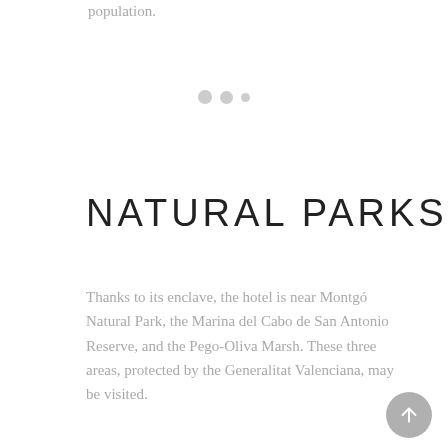population.
[Figure (other): Three pagination dots (two larger grey circles and one smaller grey circle)]
NATURAL PARKS
Thanks to its enclave, the hotel is near Montgó Natural Park, the Marina del Cabo de San Antonio Reserve, and the Pego-Oliva Marsh. These three areas, protected by the Generalitat Valenciana, may be visited.